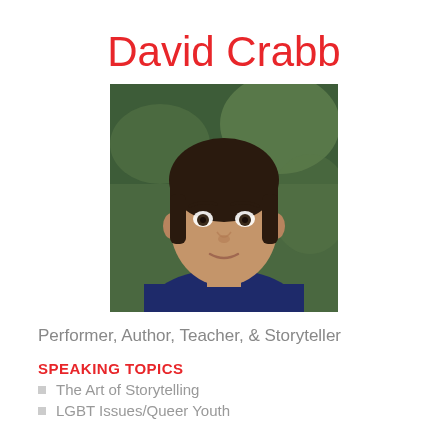David Crabb
[Figure (photo): Headshot portrait of David Crabb, a man with short dark hair wearing a dark blue shirt, photographed against a blurred green background]
Performer, Author, Teacher, & Storyteller
SPEAKING TOPICS
The Art of Storytelling
LGBT Issues/Queer Youth